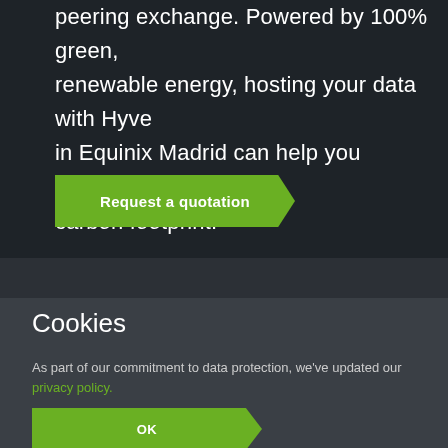peering exchange. Powered by 100% green, renewable energy, hosting your data with Hyve in Equinix Madrid can help you reduce your carbon footprint.
Request a quotation
Cookies
As part of our commitment to data protection, we've updated our privacy policy.
Benefits of our data centres
OK
Quote
Call back